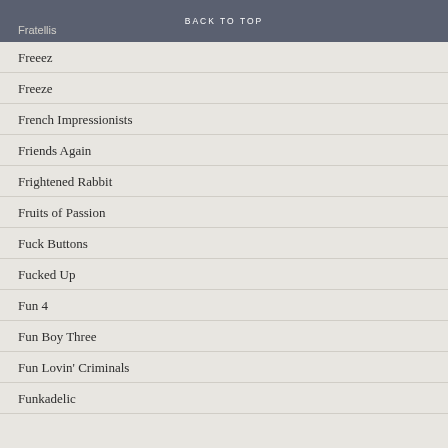BACK TO TOP
Fratellis
Freeez
Freeze
French Impressionists
Friends Again
Frightened Rabbit
Fruits of Passion
Fuck Buttons
Fucked Up
Fun 4
Fun Boy Three
Fun Lovin' Criminals
Funkadelic